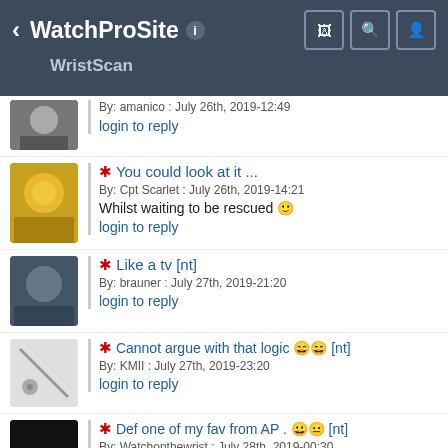WatchProSite — WristScan
By: amanico : July 26th, 2019-12:49
login to reply
* You could look at it ...
By: Cpt Scarlet : July 26th, 2019-14:21
Whilst waiting to be rescued 🙂
login to reply
* Like a tv [nt]
By: brauner : July 27th, 2019-21:20
login to reply
* Cannot argue with that logic 😄 [nt]
By: KMII : July 27th, 2019-23:20
login to reply
* Def one of my fav from AP . 😊😔 [nt]
By: Watchonthewrist : July 28th, 2019-00:30
login to reply
* That's a watch that has been on my dream list for some time now! [nt]